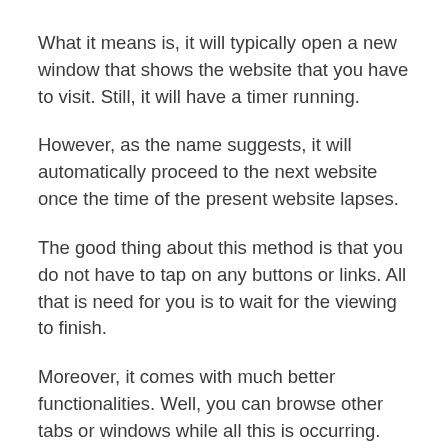What it means is, it will typically open a new window that shows the website that you have to visit. Still, it will have a timer running.
However, as the name suggests, it will automatically proceed to the next website once the time of the present website lapses.
The good thing about this method is that you do not have to tap on any buttons or links. All that is need for you is to wait for the viewing to finish.
Moreover, it comes with much better functionalities. Well, you can browse other tabs or windows while all this is occurring.
Besides, while this seems like an easy and quick